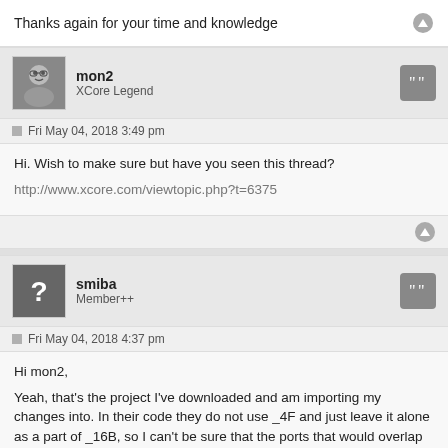Thanks again for your time and knowledge
mon2
XCore Legend
Fri May 04, 2018 3:49 pm
Hi. Wish to make sure but have you seen this thread?
http://www.xcore.com/viewtopic.php?t=6375
smiba
Member++
Fri May 04, 2018 4:37 pm
Hi mon2,

Yeah, that's the project I've downloaded and am importing my changes into. In their code they do not use _4F and just leave it alone as a part of _16B, so I can't be sure that the ports that would overlap with _4F aren't required for operation.
I used the XHRA-2HPA's limited customizability to the max, so I have to move a bunch of things and code over.